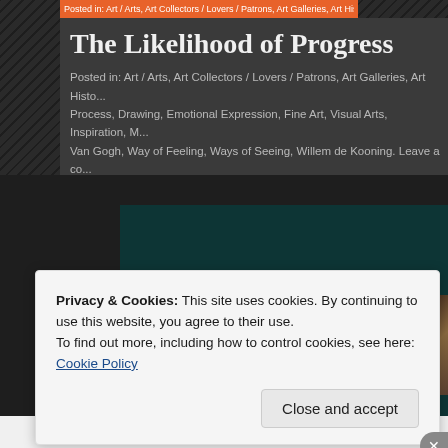Posted in: Art / Arts, Art Collectors / Lovers / Patrons, Art Galleries, Art History
The Likelihood of Progress
Posted in: Art / Arts, Art Collectors / Lovers / Patrons, Art Galleries, Art History, Process, Drawing, Emotional Expression, Fine Art, Visual Arts, Inspiration, M... Van Gogh, Way of Feeling, Ways of Seeing, Willem de Kooning. Leave a cor...
[Figure (photo): Dark teal/green rectangle image area on dark background, with a partial thumbnail of a textured brown/gold artwork in the bottom right corner]
Privacy & Cookies: This site uses cookies. By continuing to use this website, you agree to their use.
To find out more, including how to control cookies, see here: Cookie Policy
Close and accept
WordPress Works Best